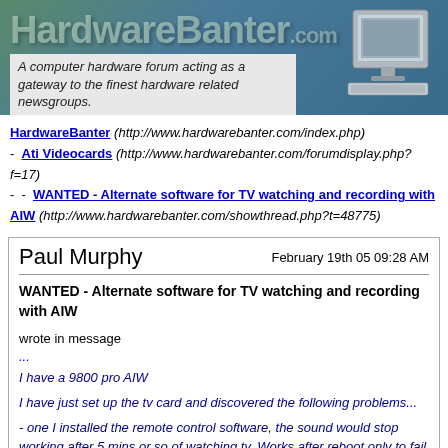[Figure (logo): HardwareBanter.com banner logo with computer image and tagline 'A computer hardware forum acting as a gateway to the finest hardware related newsgroups.']
HardwareBanter (http://www.hardwarebanter.com/index.php)
- Ati Videocards (http://www.hardwarebanter.com/forumdisplay.php?f=17)
- - WANTED - Alternate software for TV watching and recording with AIW (http://www.hardwarebanter.com/showthread.php?t=48775)
Paul Murphy
February 19th 05 09:28 AM
WANTED - Alternate software for TV watching and recording with AIW
wrote in message
...
I have a 9800 pro AIW

I have just set up the tv card and discovered the following problems...

- one I installed the remote control software, the sound would stop working after 5 mins or so of watching tv. Works after reboot only to fail again